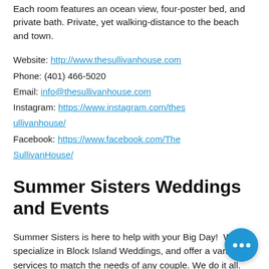Each room features an ocean view, four-poster bed, and private bath. Private, yet walking-distance to the beach and town.
Website: http://www.thesullivanhouse.com
Phone: (401) 466-5020
Email: info@thesullivanhouse.com
Instagram: https://www.instagram.com/thesullivanhouse/
Facebook: https://www.facebook.com/TheSullivanHouse/
Summer Sisters Weddings and Events
Summer Sisters is here to help with your Big Day!  We specialize in Block Island Weddings, and offer a variety of services to match the needs of any couple. We do it all. From day one, we are by your side to visit venues, pick vendors, manage the planning process, and most importantly be by your side on the BIG day. We've made recommendations and put you in touch with vendors, but you have done the scheduling, budgeting, decor creation,